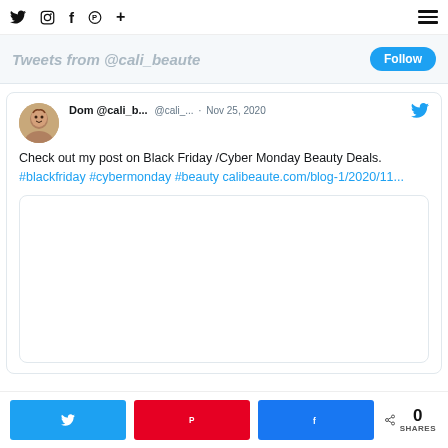y  Instagram  f  Pinterest  +  ☰
Tweets from @cali_beaute
Follow
Dom @cali_b...  @cali_...  · Nov 25, 2020
Check out my post on Black Friday /Cyber Monday Beauty Deals. #blackfriday #cybermonday #beauty calibeaute.com/blog-1/2020/11...
[Figure (screenshot): Blank white image preview area inside tweet card]
0 SHARES  Twitter share  Pinterest share  Facebook share